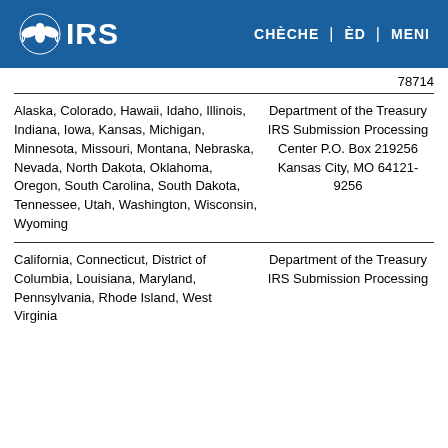IRS | CHÈCHE | ÈD | MENI
|  | 78714 |
| --- | --- |
| Alaska, Colorado, Hawaii, Idaho, Illinois, Indiana, Iowa, Kansas, Michigan, Minnesota, Missouri, Montana, Nebraska, Nevada, North Dakota, Oklahoma, Oregon, South Carolina, South Dakota, Tennessee, Utah, Washington, Wisconsin, Wyoming | Department of the Treasury IRS Submission Processing Center P.O. Box 219256 Kansas City, MO 64121-9256 |
| California, Connecticut, District of Columbia, Louisiana, Maryland, Pennsylvania, Rhode Island, West Virginia | Department of the Treasury IRS Submission Processing |